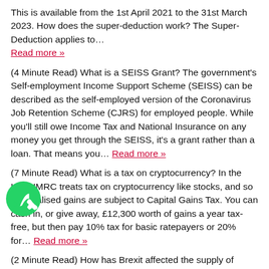This is available from the 1st April 2021 to the 31st March 2023. How does the super-deduction work? The Super-Deduction applies to… Read more »
(4 Minute Read) What is a SEISS Grant? The government's Self-employment Income Support Scheme (SEISS) can be described as the self-employed version of the Coronavirus Job Retention Scheme (CJRS) for employed people. While you'll still owe Income Tax and National Insurance on any money you get through the SEISS, it's a grant rather than a loan. That means you… Read more »
(7 Minute Read) What is a tax on cryptocurrency? In the UK, HMRC treats tax on cryptocurrency like stocks, and so any realised gains are subject to Capital Gains Tax. You can cash in, or give away, £12,300 worth of gains a year tax-free, but then pay 10% tax for basic ratepayers or 20% for… Read more »
(2 Minute Read) How has Brexit affected the supply of services? Since Brexit the transition period, the VAT rules for the supply of services have changed. Whilst not as complicated as the rules on the supply of good, they still represent a significant change from the past. The rules display here are subject to deciding where… Read more »
[Figure (illustration): WhatsApp phone icon (green circle with white telephone handset)]